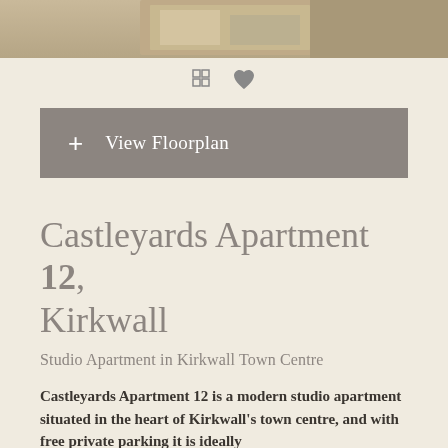[Figure (photo): Top portion of a room photo showing furniture, cropped at the top of the page]
[Figure (other): Icon bar with a grid/gallery icon and a heart/favourite icon]
+ View Floorplan
Castleyards Apartment 12, Kirkwall
Studio Apartment in Kirkwall Town Centre
Castleyards Apartment 12 is a modern studio apartment situated in the heart of Kirkwall's town centre, and with free private parking it is ideally